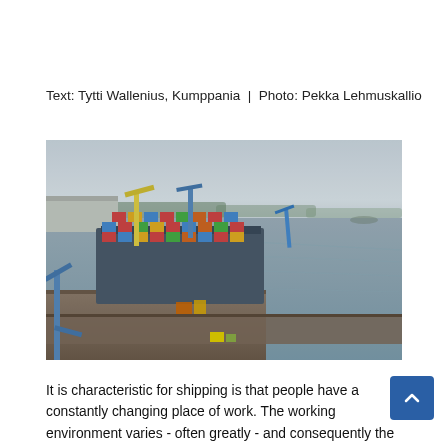Text: Tytti Wallenius, Kumppania | Photo: Pekka Lehmuskallio
[Figure (photo): Aerial view of a container port with a large cargo ship loaded with colourful shipping containers docked at a pier. Blue cranes are visible along the quay, and calm water extends to the right with forested coastline in the background under an overcast sky.]
It is characteristic for shipping is that people have a constantly changing place of work. The working environment varies - often greatly - and consequently the vessels and